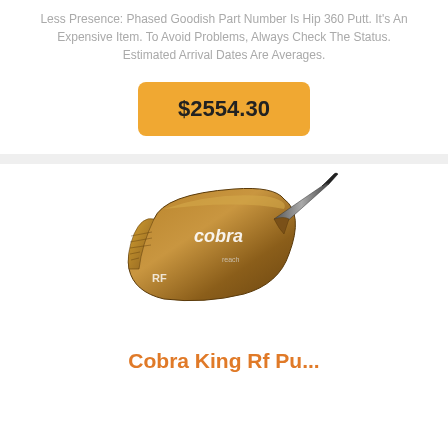Less Presence: Phased Goodish Part Number Is Hip 360 Putt. It's An Expensive Item. To Avoid Problems, Always Check The Status. Estimated Arrival Dates Are Averages.
$2554.30
[Figure (photo): Cobra King RF golf iron club head in bronze/copper finish with 'cobra' branding and 'RF' markings, shown at an angle against a white background.]
Cobra King Rf Pu...